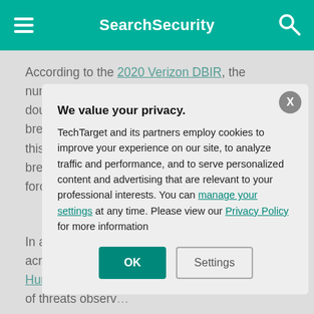SearchSecurity
According to the 2020 Verizon DBIR, the number of confirmed breaches last year nearly doubled. The 2019 DBIR showed 29% of breaches involved use of stolen credentials, but this year the number rose to 37%. Hacking and bre... Verizon's data s... 80 percent of bre... force of the use ... wrote in the repo...
In addition, the "... 2020," which exa... fraud across the... attacks. Data fro... Human Factor R... of threats observ...
We value your privacy.
TechTarget and its partners employ cookies to improve your experience on our site, to analyze traffic and performance, and to serve personalized content and advertising that are relevant to your professional interests. You can manage your settings at any time. Please view our Privacy Policy for more information